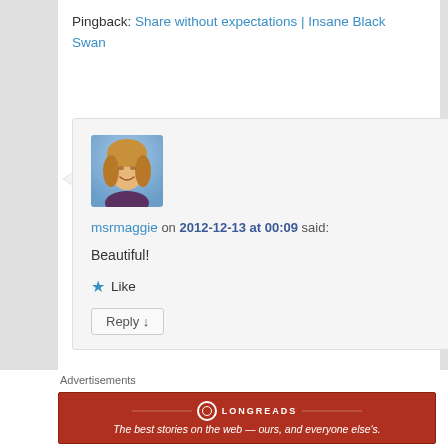Pingback: Share without expectations | Insane Black Swan
[Figure (photo): Avatar photo of msrmaggie, a woman with blonde/brown wavy hair, smiling, outdoor background]
msrmaggie on 2012-12-13 at 00:09 said:
Beautiful!
★ Like
Reply ↓
Advertisements
[Figure (infographic): Longreads advertisement banner: red background with Longreads logo and tagline 'The best stories on the web — ours, and everyone else's.']